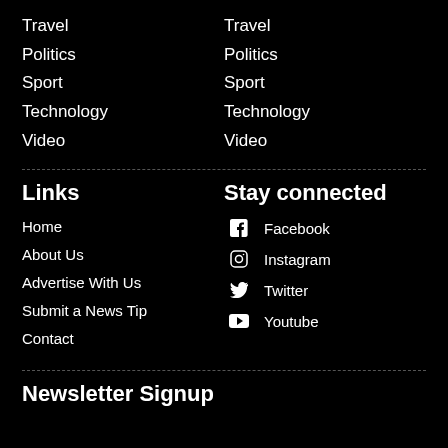Travel
Politics
Sport
Technology
Video
Travel
Politics
Sport
Technology
Video
Links
Home
About Us
Advertise With Us
Submit a News Tip
Contact
Stay connected
Facebook
Instagram
Twitter
Youtube
Newsletter Signup